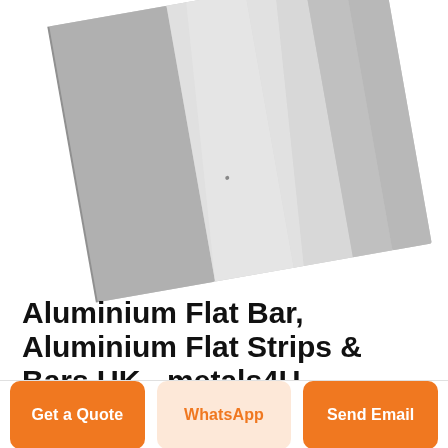[Figure (photo): A brushed aluminium flat bar/sheet photographed at an angle on a white background, showing a metallic silver surface with slight reflective sheen]
Aluminium Flat Bar, Aluminium Flat Strips & Bars UK - metals4U
bars, as they are measured by the width and depth of their cross section. Aluminium strip products are used for machinery parts, shelving and storage, furniture, transportation and general construction and fabrication work. Our aluminium flat bar
Get a Quote
WhatsApp
Send Email